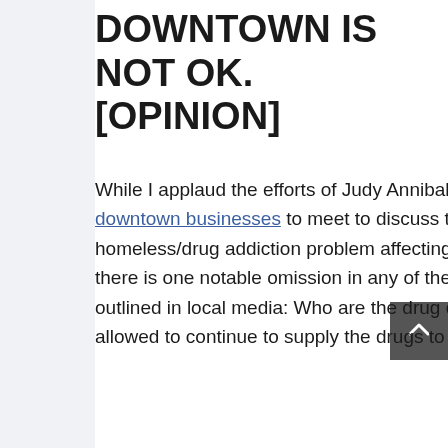DOWNTOWN IS NOT OK. [OPINION]
While I applaud the efforts of Judy Anniballi and other downtown businesses to meet to discuss the homeless/drug addiction problem affecting businesses, there is one notable omission in any of these discussions outlined in local media: Who are the drug dealers who are allowed to continue to supply the drugs to this group?